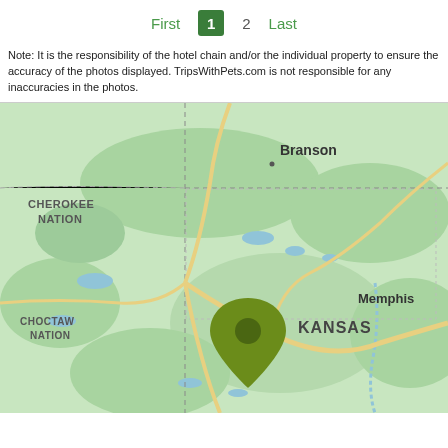First  1  2  Last
Note: It is the responsibility of the hotel chain and/or the individual property to ensure the accuracy of the photos displayed. TripsWithPets.com is not responsible for any inaccuracies in the photos.
[Figure (map): Map showing location of Kansas with a green pin marker, surrounding regions including Cherokee Nation, Choctaw Nation, Branson, and Memphis visible]